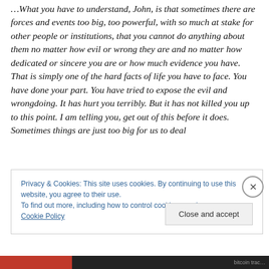What you have to understand, John, is that sometimes there are forces and events too big, too powerful, with so much at stake for other people or institutions, that you cannot do anything about them no matter how evil or wrong they are and no matter how dedicated or sincere you are or how much evidence you have. That is simply one of the hard facts of life you have to face. You have done your part. You have tried to expose the evil and wrongdoing. It has hurt you terribly. But it has not killed you up to this point. I am telling you, get out of this before it does. Sometimes things are just too big for us to deal
Privacy & Cookies: This site uses cookies. By continuing to use this website, you agree to their use.
To find out more, including how to control cookies, see here: Cookie Policy
Close and accept